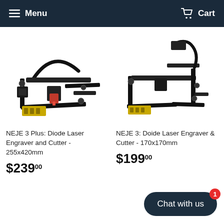Menu   Cart
[Figure (photo): NEJE 3 Plus diode laser engraver and cutter machine, black frame with red laser module and yellow circuit board]
NEJE 3 Plus: Diode Laser Engraver and Cutter - 255x420mm
$239.00
[Figure (photo): NEJE 3 diode laser engraver and cutter machine, black frame compact version with yellow circuit board]
NEJE 3: Doide Laser Engraver & Cutter - 170x170mm
$199.00
Chat with us